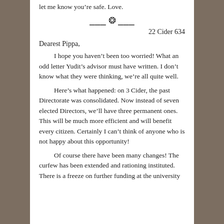let me know you're safe. Love.
[Figure (illustration): Decorative divider ornament with scrollwork]
22 Cider 634
Dearest Pippa,
I hope you haven't been too worried! What an odd letter Yudit's advisor must have written. I don't know what they were thinking, we're all quite well.
Here's what happened: on 3 Cider, the past Directorate was consolidated. Now instead of seven elected Directors, we'll have three permanent ones. This will be much more efficient and will benefit every citizen. Certainly I can't think of anyone who is not happy about this opportunity!
Of course there have been many changes! The curfew has been extended and rationing instituted. There is a freeze on further funding at the university